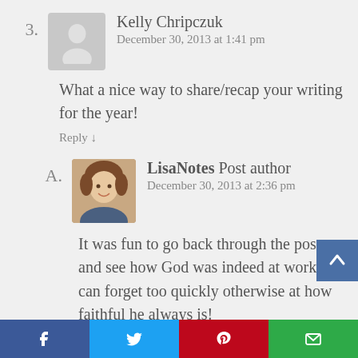3. Kelly Chripczuk — December 30, 2013 at 1:41 pm
What a nice way to share/recap your writing for the year!
Reply ↓
A. LisaNotes Post author — December 30, 2013 at 2:36 pm
It was fun to go back through the posts and see how God was indeed at work. I can forget too quickly otherwise at how faithful he always is!
f  t  p  ✉